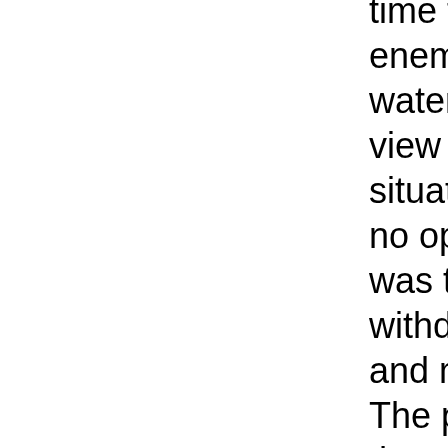time to get ashore before the enemy could get down to the water's edge. We were lucky. In view of the 35th combat team's situation reports of 5 October, when no opposition was encountered, it was thought that the enemy was withdrawing from south Marquana and making his way to Warambari. The plan for the following day, therefore, was to straighten our defences and find the whereabouts of the enemy main force.

The day was not without its humorous side. During the early part of the afternoon, Captain Morgan was anxious to get